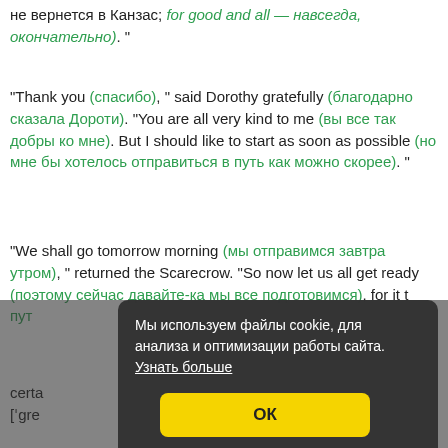не вернется в Канзас; for good and all — навсегда, окончательно). "
"Thank you (спасибо), " said Dorothy gratefully (благодарно сказала Дороти). "You are all very kind to me (вы все так добры ко мне). But I should like to start as soon as possible (но мне бы хотелось отправиться в путь как можно скорее). "
"We shall go tomorrow morning (мы отправимся завтра утром), " returned the Scarecrow. "So now let us all get ready (поэтому сейчас давайте-ка мы все подготовимся), for it t [путе
certa [' gre
[Figure (screenshot): Cookie consent overlay dialog with dark background saying 'Мы используем файлы cookie, для анализа и оптимизации работы сайта. Узнать больше' with a yellow OK button.]